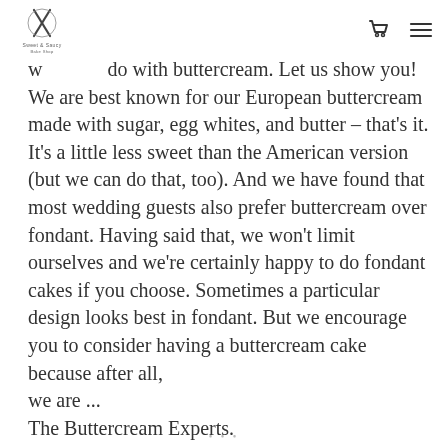[Logo: Sweet & Saucy] [Cart icon] [Menu icon]
w [logo] do with buttercream. Let us show you! We are best known for our European buttercream made with sugar, egg whites, and butter – that's it. It's a little less sweet than the American version (but we can do that, too). And we have found that most wedding guests also prefer buttercream over fondant. Having said that, we won't limit ourselves and we're certainly happy to do fondant cakes if you choose. Sometimes a particular design looks best in fondant. But we encourage you to consider having a buttercream cake because after all, we are ... The Buttercream Experts.